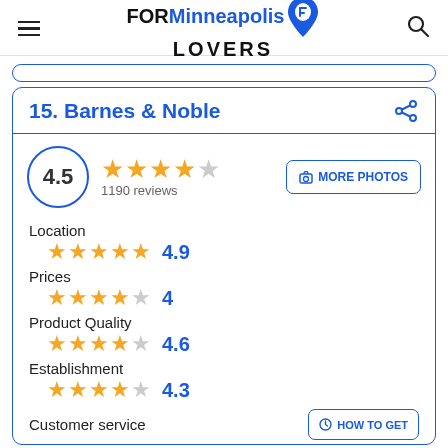FOR Minneapolis LOVERS
15. Barnes & Noble
4.5 | 1190 reviews
Location 4.9
Prices 4
Product Quality 4.6
Establishment 4.3
Customer service